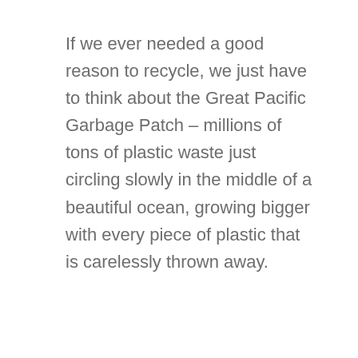If we ever needed a good reason to recycle, we just have to think about the Great Pacific Garbage Patch – millions of tons of plastic waste just circling slowly in the middle of a beautiful ocean, growing bigger with every piece of plastic that is carelessly thrown away.